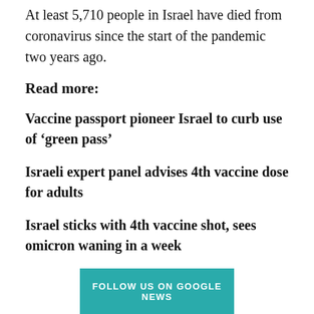At least 5,710 people in Israel have died from coronavirus since the start of the pandemic two years ago.
Read more:
Vaccine passport pioneer Israel to curb use of ‘green pass’
Israeli expert panel advises 4th vaccine dose for adults
Israel sticks with 4th vaccine shot, sees omicron waning in a week
FOLLOW US ON GOOGLE NEWS